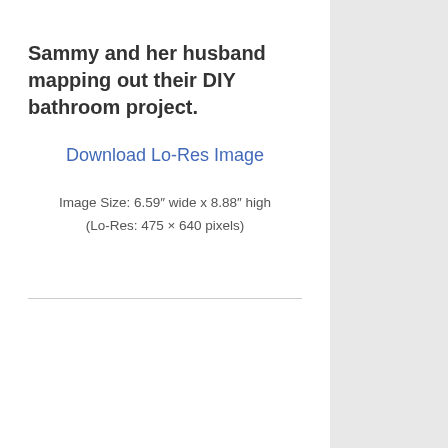Sammy and her husband mapping out their DIY bathroom project.
Download Lo-Res Image
Image Size: 6.59″ wide x 8.88″ high
(Lo-Res: 475 × 640 pixels)